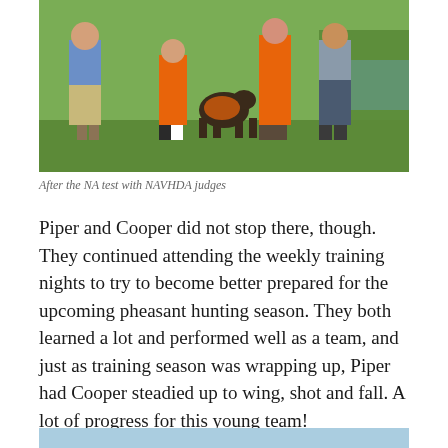[Figure (photo): Group photo of people standing on grass after an NA test with NAVHDA judges, including a dog in a hunter orange vest.]
After the NA test with NAVHDA judges
Piper and Cooper did not stop there, though. They continued attending the weekly training nights to try to become better prepared for the upcoming pheasant hunting season. They both learned a lot and performed well as a team, and just as training season was wrapping up, Piper had Cooper steadied up to wing, shot and fall. A lot of progress for this young team!
[Figure (photo): Partial view of another photo at the bottom of the page, light blue/sky background visible.]